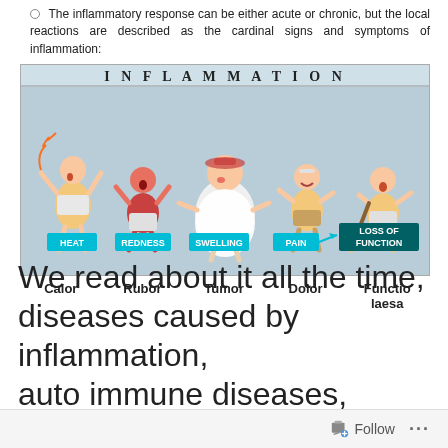The inflammatory response can be either acute or chronic, but the local reactions are described as the cardinal signs and symptoms of inflammation:
[Figure (illustration): Cartoon illustration labeled INFLAMMATION showing five characters depicting HEAT, REDNESS, SWELLING, PAIN, and LOSS OF FUNCTION — the five cardinal signs of inflammation.]
Calor    Rubor    Tumor    Dolor    Functio laesa
We read about it all the time, diseases caused by inflammation, auto immune diseases, allergies, ulcers, and a host of other